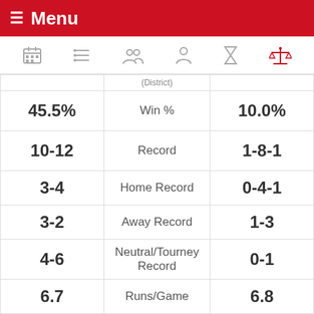≡ Menu
| Team1 | Stat | Team2 |
| --- | --- | --- |
| 45.5% | Win % | 10.0% |
| 10-12 | Record | 1-8-1 |
| 3-4 | Home Record | 0-4-1 |
| 3-2 | Away Record | 1-3 |
| 4-6 | Neutral/Tourney Record | 0-1 |
| 6.7 | Runs/Game | 6.8 |
| 6.4 | Runs Allowed/Game | 10 |